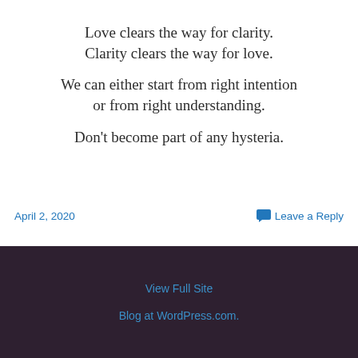Love clears the way for clarity.
Clarity clears the way for love.
We can either start from right intention
or from right understanding.
Don’t become part of any hysteria.
April 2, 2020
Leave a Reply
View Full Site
Blog at WordPress.com.